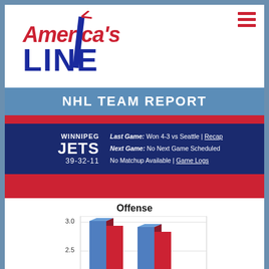[Figure (logo): America's Line logo with red script text and blue LINE text]
NHL TEAM REPORT
WINNIPEG JETS 39-32-11 | Last Game: Won 4-3 vs Seattle | Recap | Next Game: No Next Game Scheduled | No Matchup Available | Game Logs
Offense
[Figure (grouped-bar-chart): Grouped bar chart showing offense stats around 2.5-3.0 range with blue and red bars]